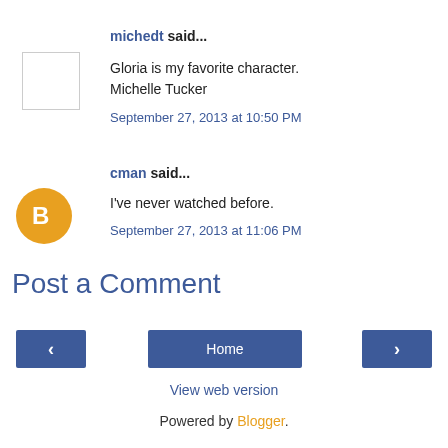michedt said...
Gloria is my favorite character.
Michelle Tucker
September 27, 2013 at 10:50 PM
cman said...
I've never watched before.
September 27, 2013 at 11:06 PM
Post a Comment
‹
Home
›
View web version
Powered by Blogger.